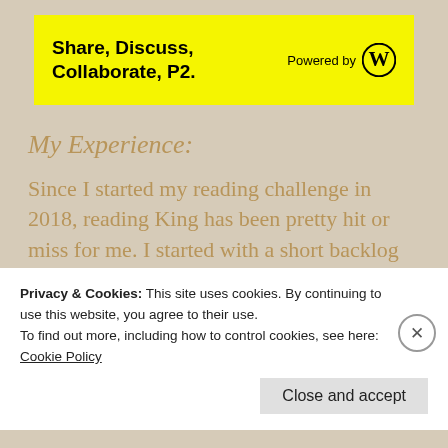[Figure (other): Yellow banner advertisement: Share, Discuss, Collaborate, P2. Powered by WordPress logo]
My Experience:
Since I started my reading challenge in 2018, reading King has been pretty hit or miss for me. I started with a short backlog of his books to read, mostly short story collections, written post Kings near fatal car crash 20 years ago. King books written during that time are to me, are a bit scattered and hard to digest. Too long,
Privacy & Cookies: This site uses cookies. By continuing to use this website, you agree to their use.
To find out more, including how to control cookies, see here:
Cookie Policy
Close and accept